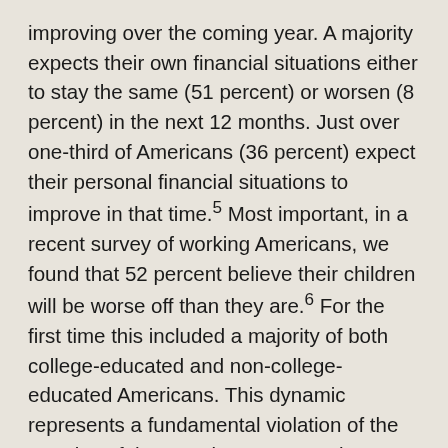improving over the coming year. A majority expects their own financial situations either to stay the same (51 percent) or worsen (8 percent) in the next 12 months. Just over one-third of Americans (36 percent) expect their personal financial situations to improve in that time.⁵ Most important, in a recent survey of working Americans, we found that 52 percent believe their children will be worse off than they are.⁶ For the first time this included a majority of both college-educated and non-college-educated Americans. This dynamic represents a fundamental violation of the promise of the American Dream, plays heavily into public pessimism about the direction of the country, and is a strong catalyst for voters' desire for change. Champions of the current administration point to improved employment figures, increased productivity, and economic growth as signs of a healthy economy. But the challenges facing individuals and the country as a whole